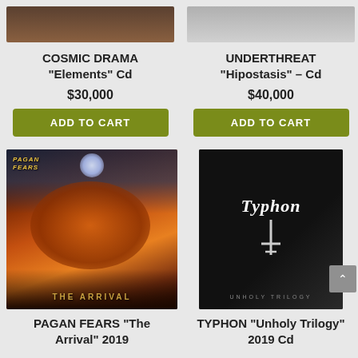[Figure (photo): Top partial album image for Cosmic Drama - cropped at top]
[Figure (photo): Top partial album image for Underthreat - cropped at top]
COSMIC DRAMA "Elements" Cd
$30,000
ADD TO CART
UNDERTHREAT "Hipostasis" – Cd
$40,000
ADD TO CART
[Figure (photo): Pagan Fears - The Arrival 2019 album art showing a demon/beast figure with fire and stone arch, with band logo top left and THE ARRIVAL text at bottom]
[Figure (photo): Typhon Unholy Trilogy 2019 Cd - black cover with Typhon text in gothic font and inverted cross symbol, UNHOLY TRILOGY text at bottom]
PAGAN FEARS "The Arrival" 2019
TYPHON "Unholy Trilogy" 2019 Cd